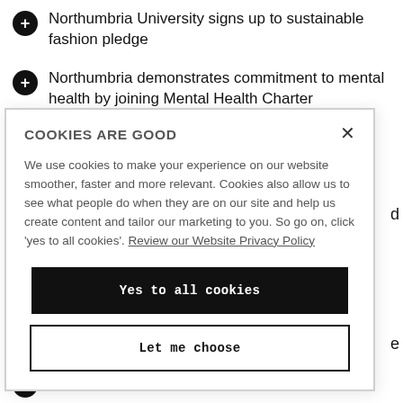Northumbria University signs up to sustainable fashion pledge
Northumbria demonstrates commitment to mental health by joining Mental Health Charter Programme
Virtual reality tool that helps people to assess
[Figure (screenshot): Cookie consent modal dialog with title 'COOKIES ARE GOOD', body text about cookie usage, a link 'Review our Website Privacy Policy', a 'Yes to all cookies' black button, and a 'Let me choose' outlined button, with an X close button in the top right.]
Massive decrease in fruit and vegetable intake